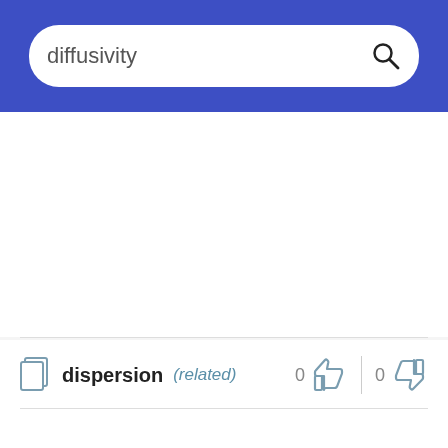diffusivity
dispersion (related) 0 0